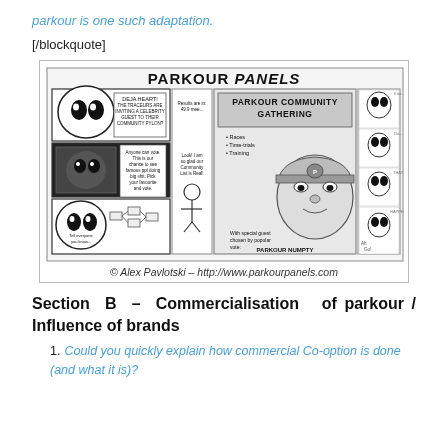parkour is one such adaptation.
[/blockquote]
[Figure (illustration): Comic strip titled 'Parkour Panels' by Alex Pavlotski showing parkour-themed comic panels including a community gathering flyer for 'Parkour Numpty' as special guest, characters reacting, and a sequence of story panels. Caption: © Alex Pavlotski – http://www.parkourpanels.com]
Section B – Commercialisation of parkour / Influence of brands
Could you quickly explain how commercial Co-option is done (and what it is)?